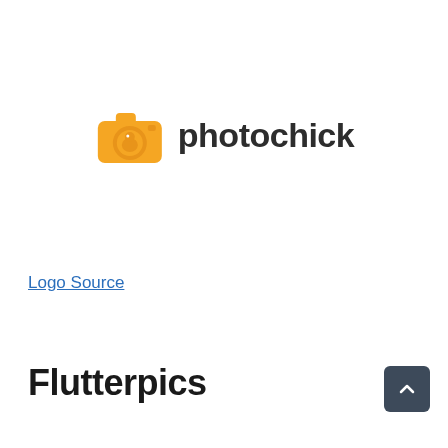[Figure (logo): Photochick logo: orange camera icon with a bird/chick silhouette inside the lens, followed by the text 'photochick' in dark gray bold sans-serif]
Logo Source
Flutterpics